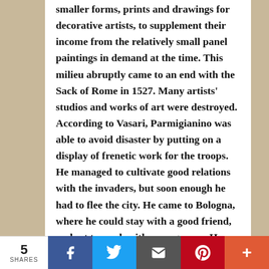smaller forms, prints and drawings for decorative artists, to supplement their income from the relatively small panel paintings in demand at the time. This milieu abruptly came to an end with the Sack of Rome in 1527. Many artists' studios and works of art were destroyed. According to Vasari, Parmigianino was able to avoid disaster by putting on a display of frenetic work for the troops. He managed to cultivate good relations with the invaders, but soon enough he had to flee the city. He came to Bologna, where he could stay with a good friend, and set to work with a vengeance. He was especially prolific as a portraitist in Bologna, since it suited both local demand and the artist's need for ready cash. He executed most of these portraits on
5 SHARES | Facebook | Twitter | Email | Pinterest | More